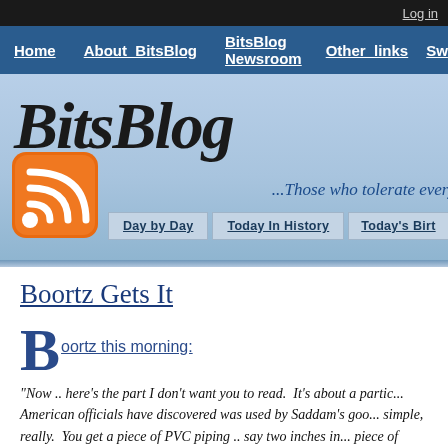Log in
Home | About_BitsBlog | BitsBlog Newsroom | Other_links | Sw...
[Figure (screenshot): BitsBlog website header banner with logo text 'BitsBlog', tagline '...Those who tolerate every...', orange RSS feed icon, and sub-navigation buttons: Day by Day, Today In History, Today's Birt...]
Boortz Gets It
Boortz this morning:
"Now .. here's the part I don't want you to read. It's about a partic... American officials have discovered was used by Saddam's goo... simple, really. You get a piece of PVC piping .. say two inches in... piece of cheese into the end of this pipe .. and Saddam's agen... pipe, have their victim's pants removed, and then shove that pipe... shine. Then they would insert small rats into the open end of th...